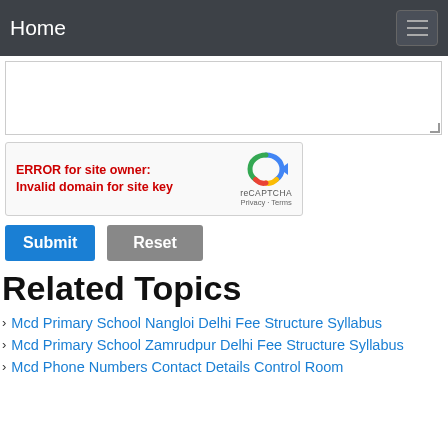Home
[Figure (screenshot): Textarea input field (empty comment box)]
[Figure (screenshot): reCAPTCHA widget showing error: ERROR for site owner: Invalid domain for site key]
Submit  Reset
Related Topics
Mcd Primary School Nangloi Delhi Fee Structure Syllabus
Mcd Primary School Zamrudpur Delhi Fee Structure Syllabus
Mcd Phone Numbers Contact Details Control Room